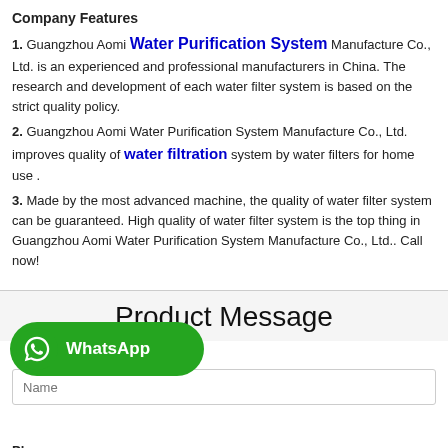Company Features
1. Guangzhou Aomi Water Purification System Manufacture Co., Ltd. is an experienced and professional manufacturers in China. The research and development of each water filter system is based on the strict quality policy.
2. Guangzhou Aomi Water Purification System Manufacture Co., Ltd. improves quality of water filtration system by water filters for home use .
3. Made by the most advanced machine, the quality of water filter system can be guaranteed. High quality of water filter system is the top thing in Guangzhou Aomi Water Purification System Manufacture Co., Ltd.. Call now!
Product Message
* Name
Name (input field)
[Figure (logo): WhatsApp button with green rounded rectangle background, phone icon, and WhatsApp text]
Ph... (Phone field label)
Phone input field